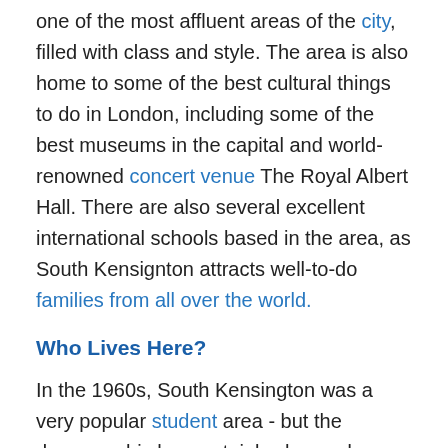one of the most affluent areas of the city, filled with class and style. The area is also home to some of the best cultural things to do in London, including some of the best museums in the capital and world-renowned concert venue The Royal Albert Hall. There are also several excellent international schools based in the area, as South Kensignton attracts well-to-do families from all over the world.
Who Lives Here?
In the 1960s, South Kensington was a very popular student area - but the demographic has certainly changed over the decades. Today, it's a very popular choice for affluent families working in the arts or the financial sector. A studio for rent in South Kensington is often a popular choice for people from overseas who are looking for a London base when they visit. The area is very popular with the French, and there is a large Spanish community too, which makes it a very interesting and